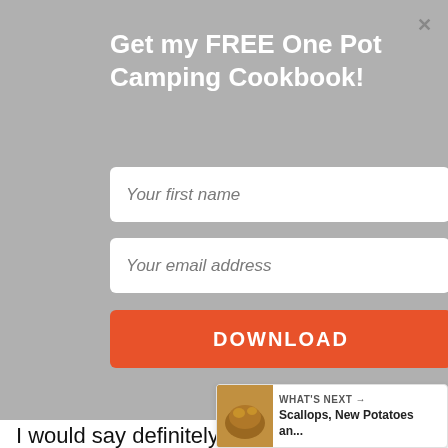Get my FREE One Pot Camping Cookbook!
Your first name
Your email address
DOWNLOAD
9 June 2012 at 3:31 pm
I would say definitely, off the top of my head I think each female beetle lays 350 eggs in her life. That's mealworms!
Thanks for stopping by, April
121
WHAT'S NEXT → Scallops, New Potatoes an...